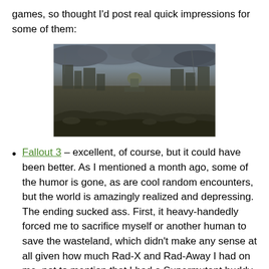games, so thought I'd post real quick impressions for some of them:
[Figure (photo): A post-apocalyptic panoramic view of a ruined Washington D.C. with a destroyed Capitol building in the center, dark cloudy skies, and rubble-strewn landscape.]
Fallout 3 – excellent, of course, but it could have been better. As I mentioned a month ago, some of the humor is gone, as are cool random encounters, but the world is amazingly realized and depressing. The ending sucked ass. First, it heavy-handedly forced me to sacrifice myself or another human to save the wasteland, which didn't make any sense at all given how much Rad-X and Rad-Away I had on me, not to mention that I had a Supermutant buddy with